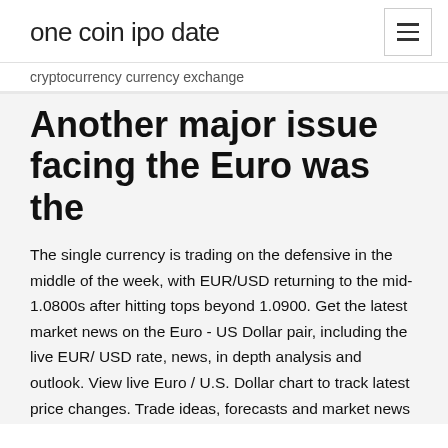one coin ipo date
cryptocurrency currency exchange
Another major issue facing the Euro was the
The single currency is trading on the defensive in the middle of the week, with EUR/USD returning to the mid-1.0800s after hitting tops beyond 1.0900. Get the latest market news on the Euro - US Dollar pair, including the live EUR/ USD rate, news, in depth analysis and outlook. View live Euro / U.S. Dollar chart to track latest price changes. Trade ideas, forecasts and market news are at your disposal as well. EURUSD Forex Chart. EURUSD | A complete Euro currency overview by MarketWatch. View the currency market news and exchange rates to see currency strength.
Weekly Forex Forecasts | Forex Crunch Apr 04, 2020 · Forex Crunch is a site all about the foreign exchange market, which